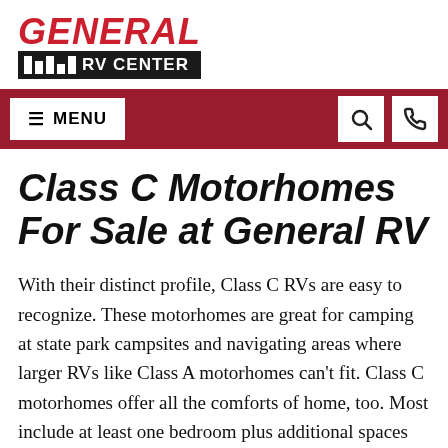[Figure (logo): General RV Center logo — red italic GENERAL text above a black bar with white vertical bar icons and RV CENTER text]
≡ MENU  [search icon]  [phone icon]
Class C Motorhomes For Sale at General RV
With their distinct profile, Class C RVs are easy to recognize. These motorhomes are great for camping at state park campsites and navigating areas where larger RVs like Class A motorhomes can't fit. Class C motorhomes offer all the comforts of home, too. Most include at least one bedroom plus additional spaces that convert to extra beds or bunks. The versatility of Class C RVs makes them a great choice for RVing families and couples.